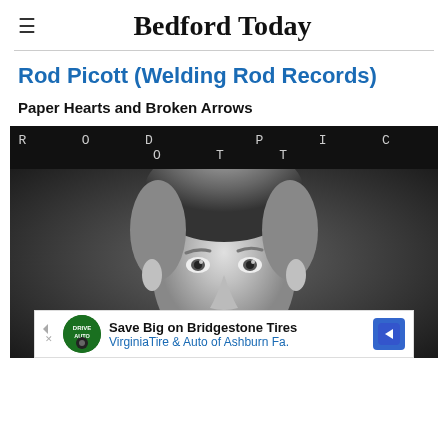Bedford Today
Rod Picott (Welding Rod Records)
Paper Hearts and Broken Arrows
[Figure (photo): Black and white album cover / press photo of Rod Picott. Top banner reads 'ROD PICOTT' in spaced monospace letters on dark background. Below is a close-up black and white portrait of a middle-aged man with wavy salt-and-pepper hair, looking directly at the camera with a slight expression.]
Save Big on Bridgestone Tires VirginiaTire & Auto of Ashburn Fa.